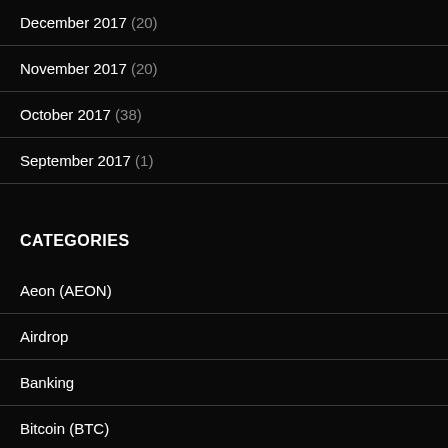December 2017 (20)
November 2017 (20)
October 2017 (38)
September 2017 (1)
CATEGORIES
Aeon (AEON)
Airdrop
Banking
Bitcoin (BTC)
Bitcoin Cash (BCH)
Bitcoin Core